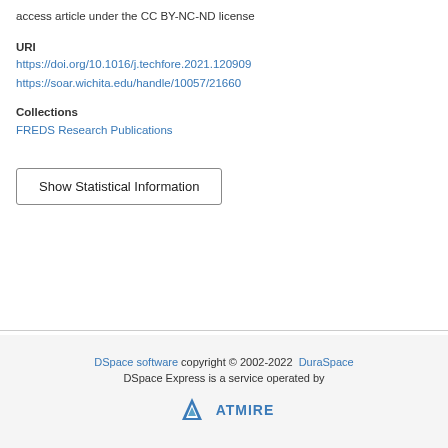access article under the CC BY-NC-ND license
URI
https://doi.org/10.1016/j.techfore.2021.120909
https://soar.wichita.edu/handle/10057/21660
Collections
FREDS Research Publications
Show Statistical Information
DSpace software copyright © 2002-2022  DuraSpace
DSpace Express is a service operated by
ATMIRE